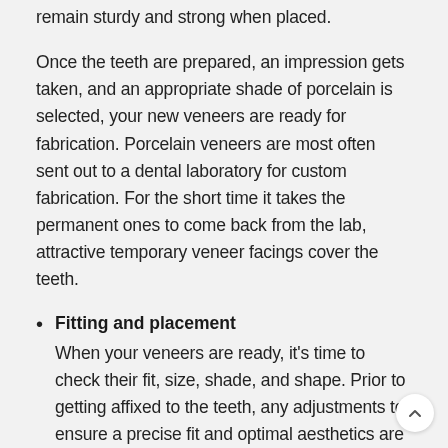remain sturdy and strong when placed.
Once the teeth are prepared, an impression gets taken, and an appropriate shade of porcelain is selected, your new veneers are ready for fabrication. Porcelain veneers are most often sent out to a dental laboratory for custom fabrication. For the short time it takes the permanent ones to come back from the lab, attractive temporary veneer facings cover the teeth.
Fitting and placement
When your veneers are ready, it's time to check their fit, size, shade, and shape. Prior to getting affixed to the teeth, any adjustments to ensure a precise fit and optimal aesthetics are made. At this time, we'll also confirm that you're pleased with